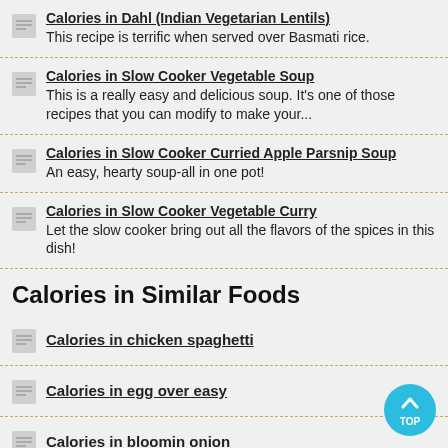Calories in Dahl (Indian Vegetarian Lentils) – This recipe is terrific when served over Basmati rice.
Calories in Slow Cooker Vegetable Soup – This is a really easy and delicious soup. It's one of those recipes that you can modify to make your...
Calories in Slow Cooker Curried Apple Parsnip Soup – An easy, hearty soup-all in one pot!
Calories in Slow Cooker Vegetable Curry – Let the slow cooker bring out all the flavors of the spices in this dish!
Calories in Similar Foods
Calories in chicken spaghetti
Calories in egg over easy
Calories in bloomin onion
Calories in chili with beans